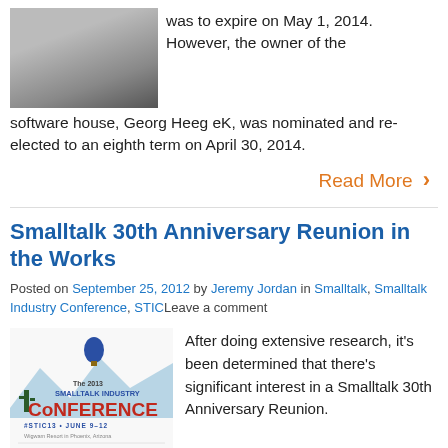[Figure (photo): Photo of a person in the top-left corner]
was to expire on May 1, 2014. However, the owner of the software house, Georg Heeg eK, was nominated and re-elected to an eighth term on April 30, 2014.
Read More ›
Smalltalk 30th Anniversary Reunion in the Works
Posted on September 25, 2012 by Jeremy Jordan in Smalltalk, Smalltalk Industry Conference, STICLeave a comment
[Figure (logo): The 2013 Smalltalk Industry Conference logo — #STIC13 • JUNE 9–12, Wigwam Resort in Phoenix, Arizona, Celebrating 30 Years of Smalltalk]
After doing extensive research, it's been determined that there's significant interest in a Smalltalk 30th Anniversary Reunion.
Read More ›